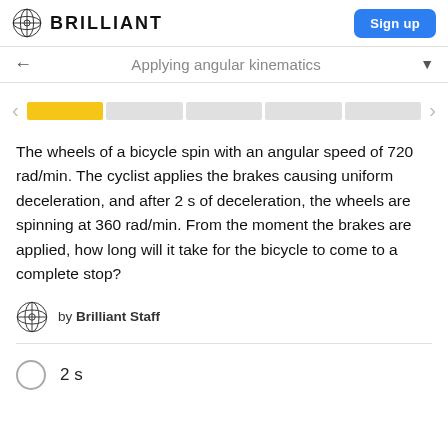BRILLIANT | Sign up
← Applying angular kinematics ▼
[Figure (infographic): Progress bar showing 5 segments, first segment highlighted in yellow/gold, remaining 4 in gray, with left and right navigation arrows.]
The wheels of a bicycle spin with an angular speed of 720 rad/min. The cyclist applies the brakes causing uniform deceleration, and after 2 s of deceleration, the wheels are spinning at 360 rad/min. From the moment the brakes are applied, how long will it take for the bicycle to come to a complete stop?
by Brilliant Staff
2 s